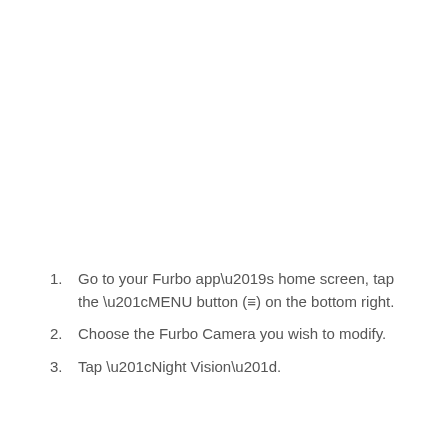Go to your Furbo app’s home screen, tap the “MENU button (≡) on the bottom right.
Choose the Furbo Camera you wish to modify.
Tap “Night Vision”.